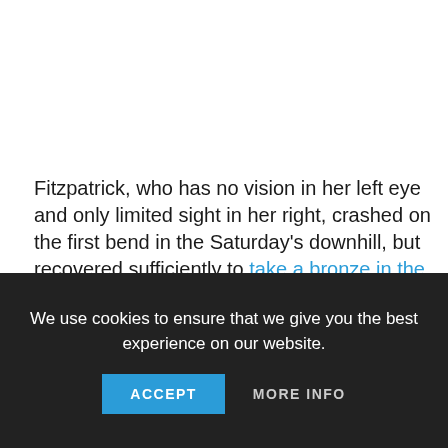Fitzpatrick, who has no vision in her left eye and only limited sight in her right, crashed on the first bend in the Saturday's downhill, but recovered sufficiently to take a bronze in the super-G 24 hours later.
“Today we went for it and it was really awesome,” Fitzpatrick
We use cookies to ensure that we give you the best experience on our website.
ACCEPT
MORE INFO